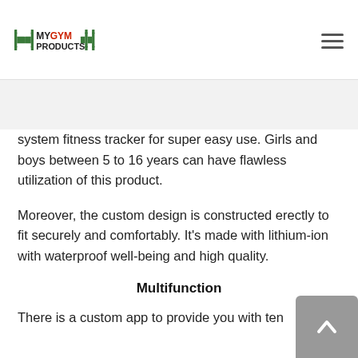MY GYM PRODUCTS
system fitness tracker for super easy use. Girls and boys between 5 to 16 years can have flawless utilization of this product.
Moreover, the custom design is constructed erectly to fit securely and comfortably. It's made with lithium-ion with waterproof well-being and high quality.
Multifunction
There is a custom app to provide you with ten